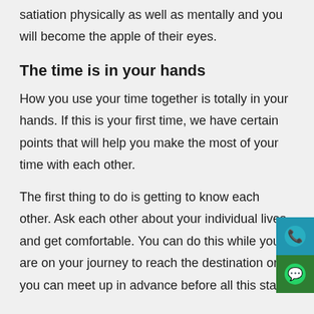satiation physically as well as mentally and you will become the apple of their eyes.
The time is in your hands
How you use your time together is totally in your hands. If this is your first time, we have certain points that will help you make the most of your time with each other.
The first thing to do is getting to know each other. Ask each other about your individual lives and get comfortable. You can do this while you are on your journey to reach the destination or you can meet up in advance before all this starts.